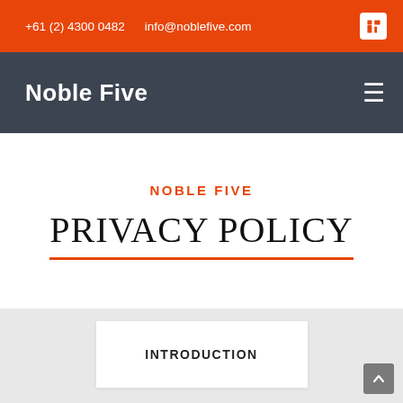+61 (2) 4300 0482   info@noblefive.com
Noble Five
NOBLE FIVE
PRIVACY POLICY
INTRODUCTION